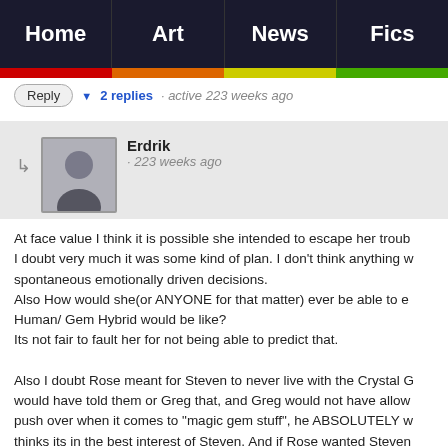Home | Art | News | Fics
Reply ▼ 2 replies · active 223 weeks ago
Erdrik · 223 weeks ago
At face value I think it is possible she intended to escape her troub... I doubt very much it was some kind of plan. I don't think anything w... spontaneous emotionally driven decisions.
Also How would she(or ANYONE for that matter) ever be able to e... Human/ Gem Hybrid would be like?
Its not fair to fault her for not being able to predict that.

Also I doubt Rose meant for Steven to never live with the Crystal G... would have told them or Greg that, and Greg would not have allow... push over when it comes to "magic gem stuff", he ABSOLUTELY w... thinks its in the best interest of Steven. And if Rose wanted Steven... AWAY from Gem matters she would have had that conversation w... would never have allowed Steven to move in with the Gems in the...

As for the topic:
Please. Steven has put himself in mortal danger more times than P...
And its not like Pearl has HERSELF put Steven in mortal danger.(r...